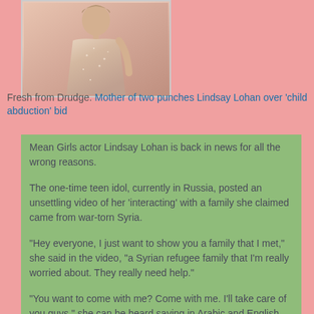[Figure (photo): Photo of a woman in a pink/gold sequined dress]
Fresh from Drudge. Mother of two punches Lindsay Lohan over 'child abduction' bid
Mean Girls actor Lindsay Lohan is back in news for all the wrong reasons.

The one-time teen idol, currently in Russia, posted an unsettling video of her ‘interacting’ with a family she claimed came from war-torn Syria.

“Hey everyone, I just want to show you a family that I met,” she said in the video, “a Syrian refugee family that I’m really worried about. They really need help.”

“You want to come with me? Come with me. I’ll take care of you guys,” she can be heard saying in Arabic and English. “Do you want to stay in a hotel tonight? Do you want to watch movies? It would be so cool to watch a movie on a TV or...